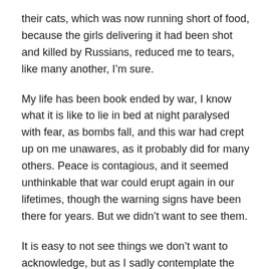their cats, which was now running short of food, because the girls delivering it had been shot and killed by Russians, reduced me to tears, like many another, I'm sure.
My life has been book ended by war, I know what it is like to lie in bed at night paralysed with fear, as bombs fall, and this war had crept up on me unawares, as it probably did for many others. Peace is contagious, and it seemed unthinkable that war could erupt again in our lifetimes, though the warning signs have been there for years. But we didn't want to see them.
It is easy to not see things we don't want to acknowledge, but as I sadly contemplate the place the world is in now, I tried to see more… more of the good things that go on happening even as the bad things seem to overwhelm us.